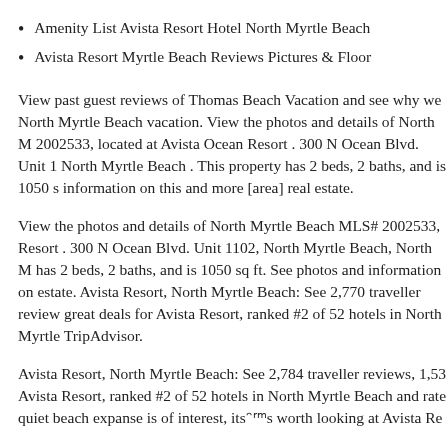Amenity List Avista Resort Hotel North Myrtle Beach
Avista Resort Myrtle Beach Reviews Pictures & Floor
View past guest reviews of Thomas Beach Vacation and see why we North Myrtle Beach vacation. View the photos and details of North M 2002533, located at Avista Ocean Resort . 300 N Ocean Blvd. Unit 1 North Myrtle Beach . This property has 2 beds, 2 baths, and is 1050 s information on this and more [area] real estate.
View the photos and details of North Myrtle Beach MLS# 2002533, Resort . 300 N Ocean Blvd. Unit 1102, North Myrtle Beach, North M has 2 beds, 2 baths, and is 1050 sq ft. See photos and information on estate. Avista Resort, North Myrtle Beach: See 2,770 traveller review great deals for Avista Resort, ranked #2 of 52 hotels in North Myrtle TripAdvisor.
Avista Resort, North Myrtle Beach: See 2,784 traveller reviews, 1,53 Avista Resort, ranked #2 of 52 hotels in North Myrtle Beach and rate quiet beach expanse is of interest, its worth looking at Avista Re